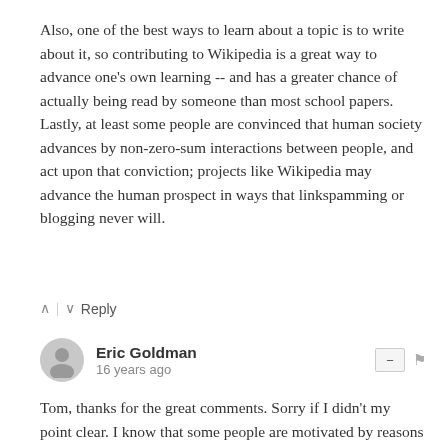Also, one of the best ways to learn about a topic is to write about it, so contributing to Wikipedia is a great way to advance one's own learning -- and has a greater chance of actually being read by someone than most school papers. Lastly, at least some people are convinced that human society advances by non-zero-sum interactions between people, and act upon that conviction; projects like Wikipedia may advance the human prospect in ways that linkspamming or blogging never will.
∧ | ∨  Reply
Eric Goldman
16 years ago
Tom, thanks for the great comments. Sorry if I didn't my point clear. I know that some people are motivated by reasons beyond fame and fortune. You give some good examples of those motivations. The Q is--how many people? How long will they contribute in the face of competing demands for their time? Can enough new